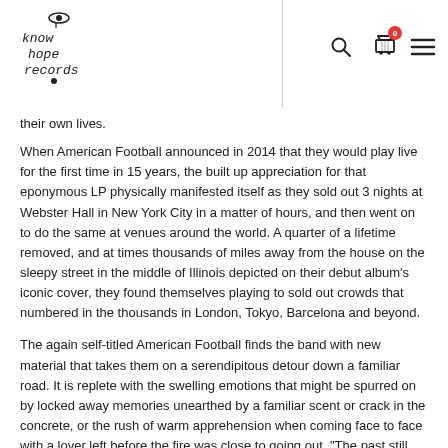Know Hope Records — navigation header with logo, search, cart (0), and menu icons
their own lives.
When American Football announced in 2014 that they would play live for the first time in 15 years, the built up appreciation for that eponymous LP physically manifested itself as they sold out 3 nights at Webster Hall in New York City in a matter of hours, and then went on to do the same at venues around the world. A quarter of a lifetime removed, and at times thousands of miles away from the house on the sleepy street in the middle of Illinois depicted on their debut album's iconic cover, they found themselves playing to sold out crowds that numbered in the thousands in London, Tokyo, Barcelona and beyond.
The again self-titled American Football finds the band with new material that takes them on a serendipitous detour down a familiar road. It is replete with the swelling emotions that might be spurred on by locked away memories unearthed by a familiar scent or crack in the concrete, or the rush of warm apprehension when coming face to face with a lover left before the fire was close to going out. "The past still